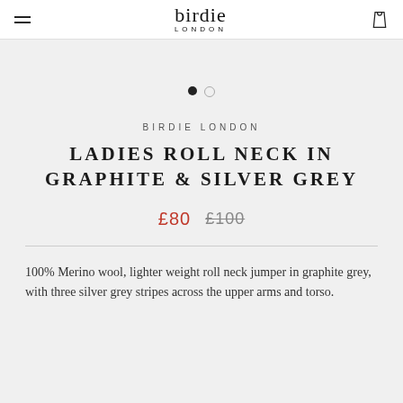birdie LONDON
[Figure (other): Image carousel dots: one filled black dot and one empty circle dot indicating a two-image carousel]
BIRDIE LONDON
LADIES ROLL NECK IN GRAPHITE & SILVER GREY
£80  £100
100% Merino wool, lighter weight roll neck jumper in graphite grey, with three silver grey stripes across the upper arms and torso.